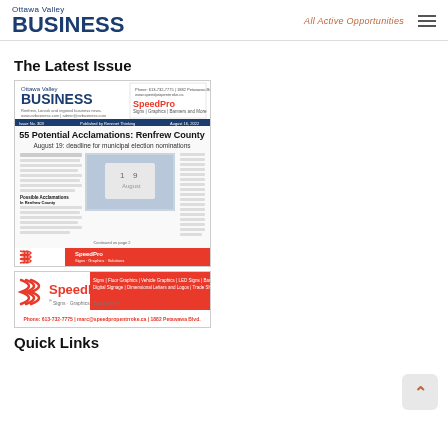Ottawa Valley BUSINESS | All Active Opportunities
The Latest Issue
[Figure (screenshot): Thumbnail of Ottawa Valley Business magazine cover showing headline '55 Potential Acclamations: Renfrew County - August 19: deadline for municipal election nominations' with SpeedPro advertisement]
[Figure (photo): SpeedPro advertisement banner - Signs, Graphics, Solutions. Signs | Floor Graphics | Vehicle Graphics | LED Signs | Banner Printing & Stands | Digital Signage | Dimensional Letters and Logos | Trade Show & POS Materials. Phone: 613-732-7775]
Quick Links